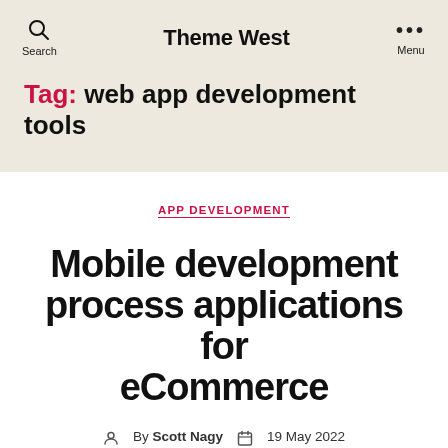Theme West
Tag: web app development tools
APP DEVELOPMENT
Mobile development process applications for eCommerce
By Scott Nagy  19 May 2022  No Comments